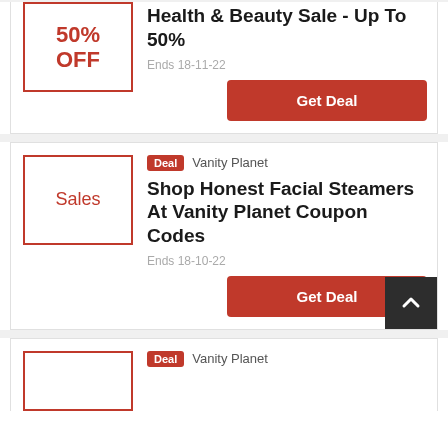[Figure (other): Discount badge box showing 50% OFF in red text with red border]
Health & Beauty Sale - Up To 50%
Ends 18-11-22
Get Deal
[Figure (other): Sales badge box showing 'Sales' in red text with red border]
Deal  Vanity Planet
Shop Honest Facial Steamers At Vanity Planet Coupon Codes
Ends 18-10-22
Get Deal
Deal  Vanity Planet